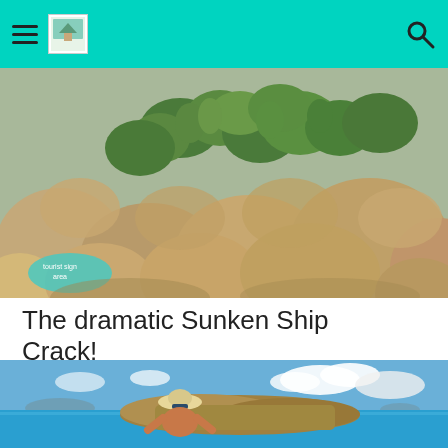Navigation bar with hamburger menu, logo, and search icon
[Figure (photo): Close-up photo of succulent plants growing between large rocky boulders with a teal lip-shaped sign partially visible at lower left]
The dramatic Sunken Ship Crack!
[Figure (photo): A woman in sunhat and sunglasses posing on rocky coastal formation with turquoise ocean water and island silhouettes in the background under a partly cloudy blue sky]